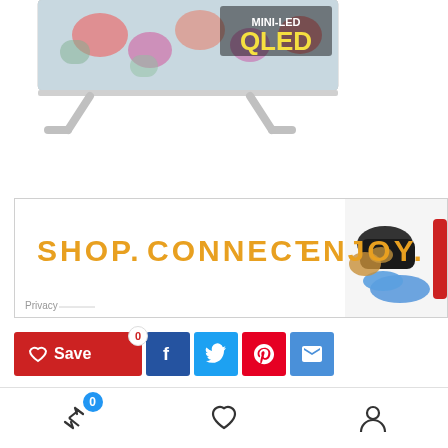[Figure (photo): Partial view of a TV screen showing a floral display with MINI-LED QLED text, with TV stand legs visible below]
[Figure (infographic): Advertisement banner with orange bold text reading SHOP. CONNECT. ENJOY. with electronics products on the right side and Privacy label at bottom left]
[Figure (screenshot): Social share bar with Save button (red with heart icon and 0 badge), Facebook (dark blue), Twitter (light blue), Pinterest (red), and Email (blue) buttons]
We will be happy to hear your thoughts
[Figure (screenshot): Bottom navigation bar with share/arrows icon (with blue 0 badge), heart/favorite icon, and user/profile icon]